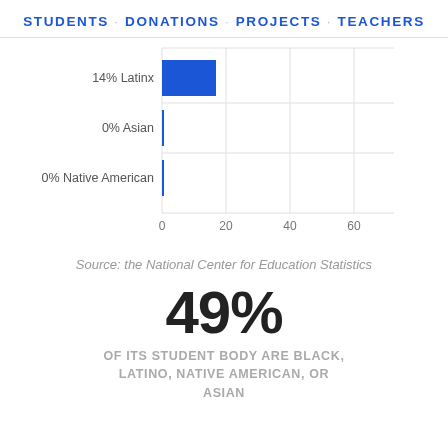STUDENTS · DONATIONS · PROJECTS · TEACHERS
[Figure (bar-chart): ]
Source: the National Center for Education Statistics
49%
OF ITS STUDENT BODY ARE BLACK, LATINO, NATIVE AMERICAN, OR ASIAN